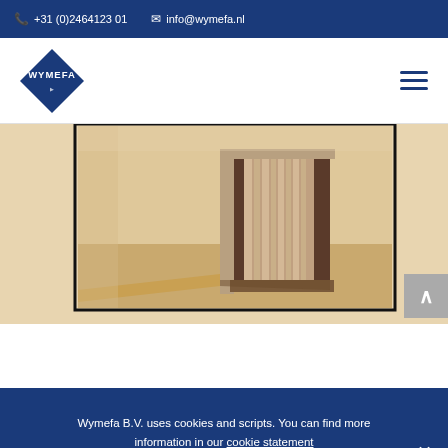+31 (0)2464123 01  info@wymefa.nl
[Figure (logo): Wymefa blue diamond logo with white text 'WYMEFA']
[Figure (illustration): Interior architectural illustration showing a room with a door frame, wall paneling, and beige/tan floor and walls with a dark doorway opening]
Wymefa B.V. uses cookies and scripts. You can find more information in our cookie statement
I agree